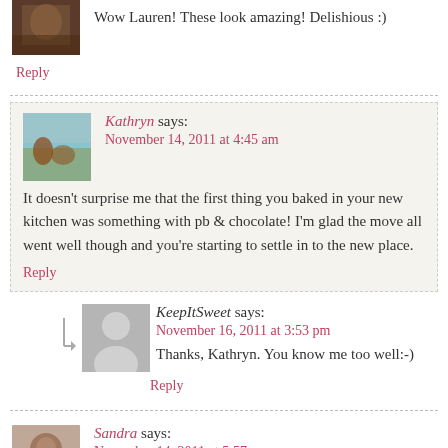[Figure (photo): Small avatar photo of a person with dark hair]
Wow Lauren! These look amazing! Delishious :)
Reply
[Figure (photo): Small avatar photo of Kathryn outdoors]
Kathryn says:
November 14, 2011 at 4:45 am
It doesn't surprise me that the first thing you baked in your new kitchen was something with pb & chocolate! I'm glad the move all went well though and you're starting to settle in to the new place.
Reply
[Figure (photo): Placeholder avatar silhouette for KeepItSweet]
KeepItSweet says:
November 16, 2011 at 3:53 pm
Thanks, Kathryn. You know me too well:-)
Reply
[Figure (photo): Small avatar photo of Sandra]
Sandra says:
November 14, 2011 at 5:57 am
These are making me smile right now. Glad you're settling in and there truly is no place like home.